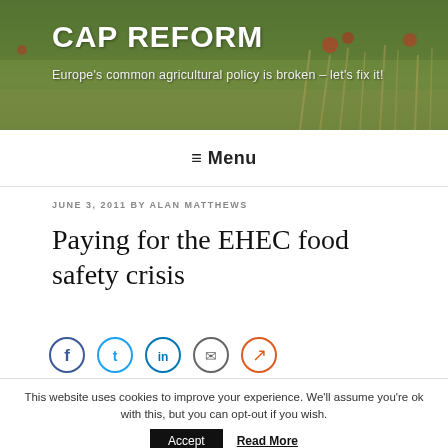CAP REFORM
Europe's common agricultural policy is broken – let's fix it!
≡ Menu
JUNE 3, 2011 BY ALAN MATTHEWS
Paying for the EHEC food safety crisis
[Figure (illustration): Social sharing icons: Facebook, Twitter, LinkedIn, Email, Share (orange)]
This website uses cookies to improve your experience. We'll assume you're ok with this, but you can opt-out if you wish.
Accept   Read More